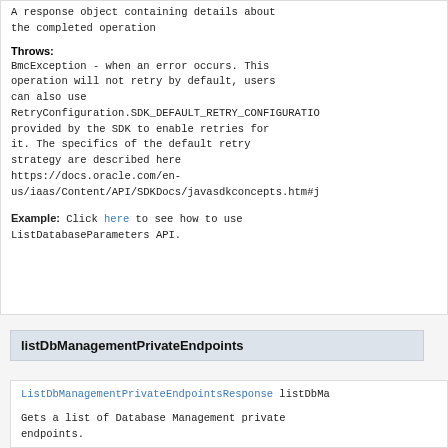A response object containing details about the completed operation
Throws:
BmcException - when an error occurs. This operation will not retry by default, users can also use RetryConfiguration.SDK_DEFAULT_RETRY_CONFIGURATION provided by the SDK to enable retries for it. The specifics of the default retry strategy are described here https://docs.oracle.com/en-us/iaas/Content/API/SDKDocs/javasdkconcepts.htm#j
Example: Click here to see how to use ListDatabaseParameters API.
listDbManagementPrivateEndpoints
ListDbManagementPrivateEndpointsResponse listDbMa
Gets a list of Database Management private endpoints.